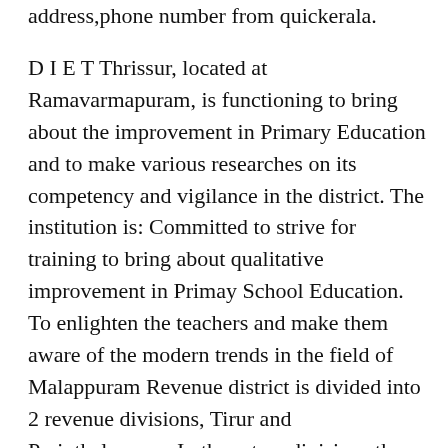address,phone number from quickerala.
D I E T Thrissur, located at Ramavarmapuram, is functioning to bring about the improvement in Primary Education and to make various researches on its competency and vigilance in the district. The institution is: Committed to strive for training to bring about qualitative improvement in Primay School Education. To enlighten the teachers and make them aware of the modern trends in the field of Malappuram Revenue district is divided into 2 revenue divisions, Tirur and Perinthalmanna. In these two divisions there are 138 villages included in 7 talukas. For the sake of rural administaration, 94 Gram Panchayats are comprised in 15 Block Panchayats, which together form the вб!